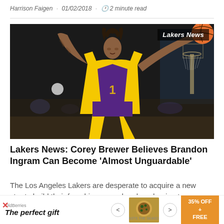Harrison Faigen · 01/02/2018 · 2 minute read
[Figure (photo): Brandon Ingram in LA Lakers yellow and purple jersey holding a basketball with both hands above his head, preparing to shoot. Basketball court visible in background with hoop on right side. Label 'Lakers News' in upper right corner.]
Lakers News: Corey Brewer Believes Brandon Ingram Can Become 'Almost Unguardable'
The Los Angeles Lakers are desperate to acquire a new star to build their franchise around and are hoping to land
[Figure (other): Advertisement banner showing 'The perfect gift' with food imagery and '35% OFF + FREE' offer badge]